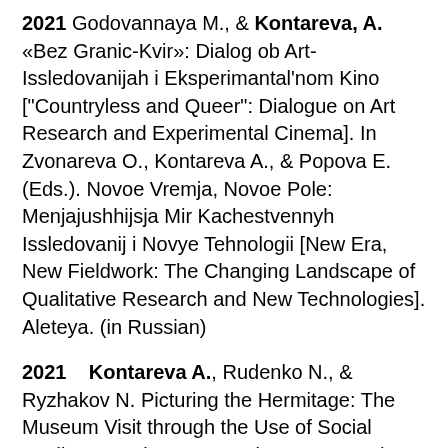2021 Godovannaya M., & Kontareva, A. «Bez Granic-Kvir»: Dialog ob Art-Issledovanijah i Eksperimantal'nom Kino ["Countryless and Queer": Dialogue on Art Research and Experimental Cinema]. In Zvonareva O., Kontareva A., & Popova E. (Eds.). Novoe Vremja, Novoe Pole: Menjajushhijsja Mir Kachestvennyh Issledovanij i Novye Tehnologii [New Era, New Fieldwork: The Changing Landscape of Qualitative Research and New Technologies]. Aleteya. (in Russian)
2021 Kontareva A., Rudenko N., & Ryzhakov N. Picturing the Hermitage: The Museum Visit through the Use of Social Media. In Lapina-Kratasyuk, E., Zaporozhets, O., & Vozyanov, A. (Eds.). Urban Networks. People. Technologies. Governance. New Literary Review. 398-426. (in Russian)